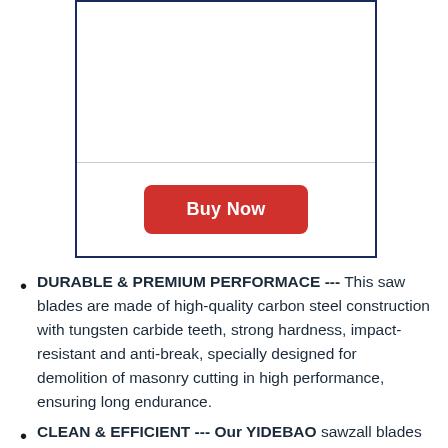[Figure (other): Product listing box with image area and Buy Now button, bordered in dark navy blue]
DURABLE & PREMIUM PERFORMACE --- This saw blades are made of high-quality carbon steel construction with tungsten carbide teeth, strong hardness, impact-resistant and anti-break, specially designed for demolition of masonry cutting in high performance, ensuring long endurance.
CLEAN & EFFICIENT --- Our YIDEBAO sawzall blades demolition are designed to